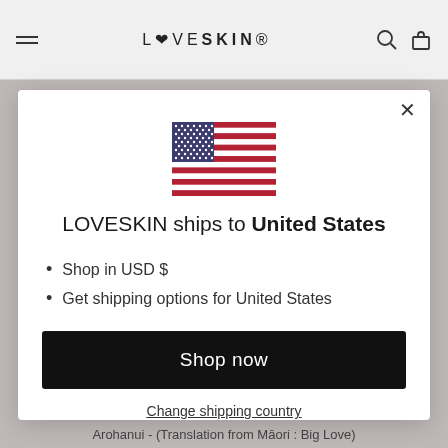LOVESKIN
[Figure (illustration): US flag SVG illustration inside modal dialog]
LOVESKIN ships to United States
Shop in USD $
Get shipping options for United States
Shop now
Change shipping country
Arohanui - (Translation from Māori : Big Love)